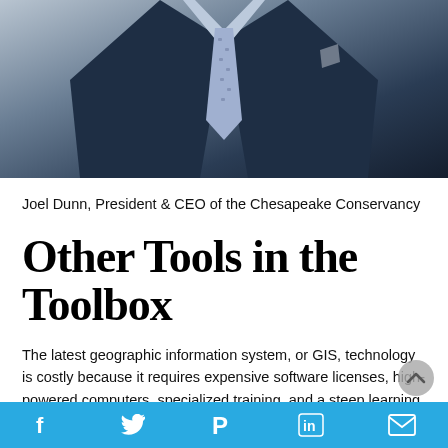[Figure (photo): Cropped photo of a man in a dark navy suit with a light blue patterned tie, upper torso visible]
Joel Dunn, President & CEO of the Chesapeake Conservancy
Other Tools in the Toolbox
The latest geographic information system, or GIS, technology is costly because it requires expensive software licenses, high-powered computers, specialized training, and a steep learning curve. The Chesapeake
Social share icons: Facebook, Twitter, Pinterest, LinkedIn, Email